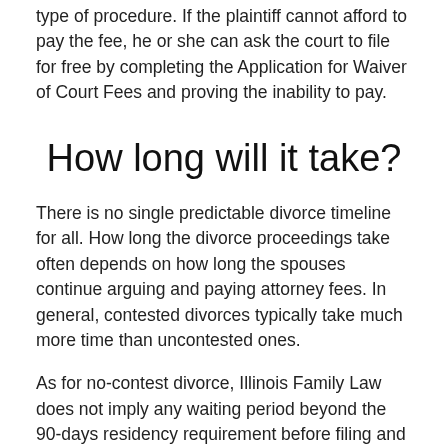type of procedure. If the plaintiff cannot afford to pay the fee, he or she can ask the court to file for free by completing the Application for Waiver of Court Fees and proving the inability to pay.
How long will it take?
There is no single predictable divorce timeline for all. How long the divorce proceedings take often depends on how long the spouses continue arguing and paying attorney fees. In general, contested divorces typically take much more time than uncontested ones.
As for no-contest divorce, Illinois Family Law does not imply any waiting period beyond the 90-days residency requirement before filing and the 30 days the defendant has to respond to the case. So, the length of the divorce process in Stark County mainly depends on how quickly the spouses can reach an agreement and complete the necessary